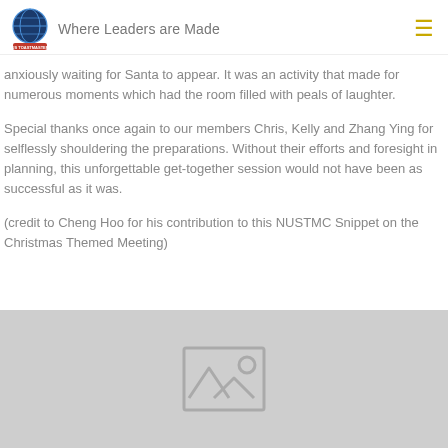Where Leaders are Made
anxiously waiting for Santa to appear. It was an activity that made for numerous moments which had the room filled with peals of laughter.
Special thanks once again to our members Chris, Kelly and Zhang Ying for selflessly shouldering the preparations. Without their efforts and foresight in planning, this unforgettable get-together session would not have been as successful as it was.
(credit to Cheng Hoo for his contribution to this NUSTMC Snippet on the Christmas Themed Meeting)
[Figure (photo): Image placeholder with mountain and sun icon on grey background]